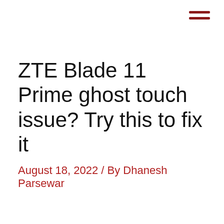[Figure (other): Hamburger menu icon (three horizontal red lines) in the top-right corner]
ZTE Blade 11 Prime ghost touch issue? Try this to fix it
August 18, 2022 / By Dhanesh Parsewar